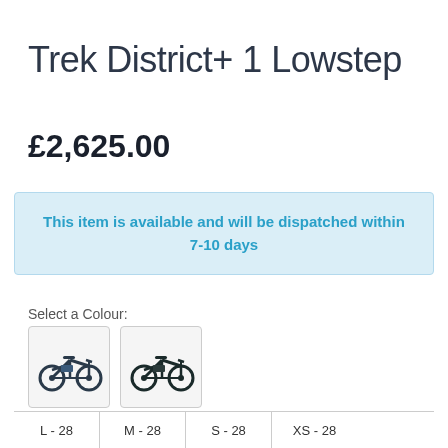Trek District+ 1 Lowstep
£2,625.00
This item is available and will be dispatched within 7-10 days
Select a Colour:
[Figure (photo): Two colour swatch options for the Trek District+ 1 Lowstep electric bike — both showing dark-coloured step-through e-bikes]
Size guide
Select a Size:
L - 28   M - 28   S - 28   XS - 28